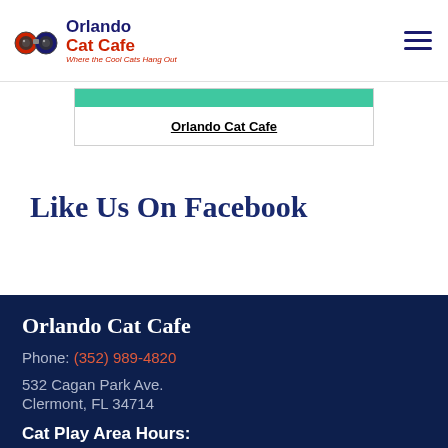Orlando Cat Cafe — Where the Cool Cats Hang Out
[Figure (screenshot): Orlando Cat Cafe Facebook embed widget with teal header bar and link]
Like Us On Facebook
Orlando Cat Cafe
Phone: (352) 989-4820
532 Cagan Park Ave.
Clermont, FL 34714
Cat Play Area Hours:
Mon: 12 pm – 6 pm: